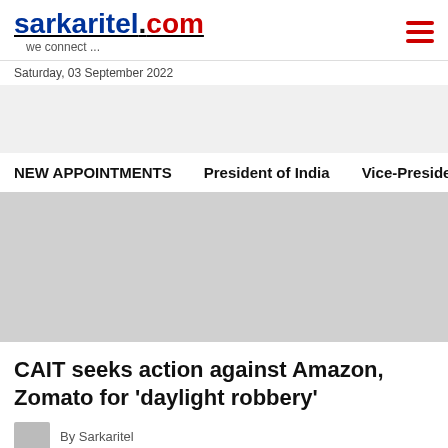sarkaritel.com — we connect ...
Saturday, 03 September 2022
NEW APPOINTMENTS   President of India   Vice-President of
CAIT seeks action against Amazon, Zomato for 'daylight robbery'
By Sarkaritel